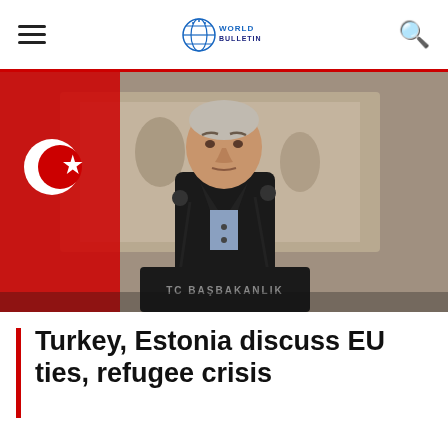World Bulletin
[Figure (photo): A man in a dark suit standing at a podium labeled 'TC BASBAKANLIK' (Turkish Prime Ministry), with a Turkish flag visible to the left and a decorative mural in the background. The man appears to be giving a speech.]
Turkey, Estonia discuss EU ties, refugee crisis